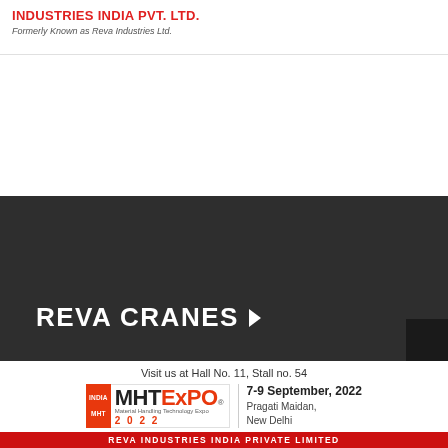INDUSTRIES INDIA PVT. LTD.
Formerly Known as Reva Industries Ltd.
[Figure (photo): Dark background section showing Reva Cranes branding with large white text 'REVA CRANES' and an arrow icon on a dark charcoal background]
REVA CRANES
Visit us at Hall No. 11, Stall no. 54
[Figure (logo): IMHTEXPO 2022 logo with orange/red badge and text, with date and venue: 7-9 September, 2022, Pragati Maidan, New Delhi]
REVA INDUSTRIES INDIA PRIVATE LIMITED